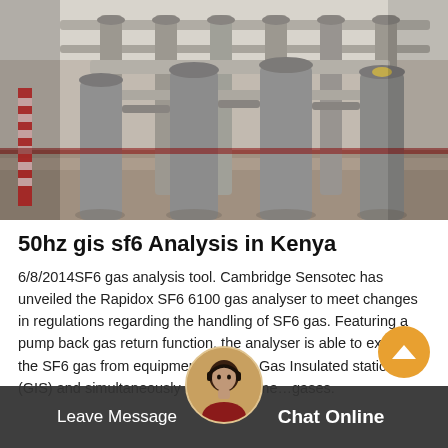[Figure (photo): Industrial electrical substation or GIS (Gas Insulated Switchgear) equipment — large metal pipes and apparatus in an indoor facility with a concrete floor and white walls.]
50hz gis sf6 Analysis in Kenya
6/8/2014SF6 gas analysis tool. Cambridge Sensotec has unveiled the Rapidox SF6 6100 gas analyser to meet changes in regulations regarding the handling of SF6 gas. Featuring a pump back gas return function, the analyser is able to extract the SF6 gas from equipment such as Gas Insulated stations (GIS) and simultaneously analyse all measured gases.
Leave Message   Chat Online